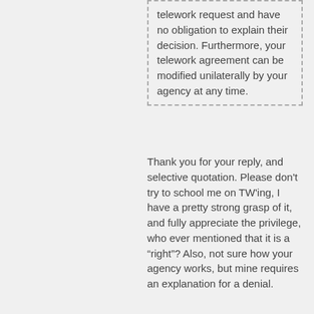telework request and have no obligation to explain their decision. Furthermore, your telework agreement can be modified unilaterally by your agency at any time.
Thank you for your reply, and selective quotation. Please don't try to school me on TW'ing, I have a pretty strong grasp of it, and fully appreciate the privilege, who ever mentioned that it is a “right”? Also, not sure how your agency works, but mine requires an explanation for a denial.